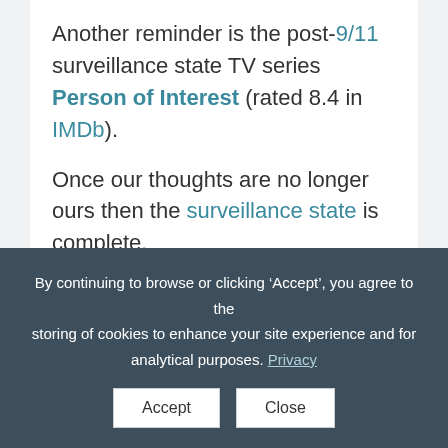Another reminder is the post-9/11 surveillance state TV series Person of Interest (rated 8.4 in IMDb).
Once our thoughts are no longer ours then the surveillance state is complete.
Independent: Brain chip allows paralysed man to
By continuing to browse or clicking ‘Accept’, you agree to the storing of cookies to enhance your site experience and for analytical purposes. Privacy
Accept  Close